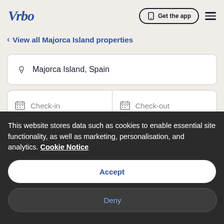Vrbo | Get the app
< View all Majorca Island properties
Majorca Island, Spain
Check-in
Check-out
Guests
This website stores data such as cookies to enable essential site functionality, as well as marketing, personalisation, and analytics. Cookie Notice
Accept
Deny